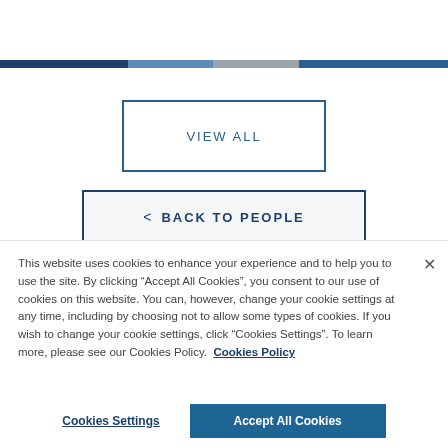[Figure (screenshot): Colored horizontal bar composed of dark blue, light blue, gray, and medium blue segments]
VIEW ALL
< BACK TO PEOPLE
This website uses cookies to enhance your experience and to help you to use the site. By clicking “Accept All Cookies”, you consent to our use of cookies on this website. You can, however, change your cookie settings at any time, including by choosing not to allow some types of cookies. If you wish to change your cookie settings, click “Cookies Settings”. To learn more, please see our Cookies Policy. Cookies Policy
Cookies Settings
Accept All Cookies